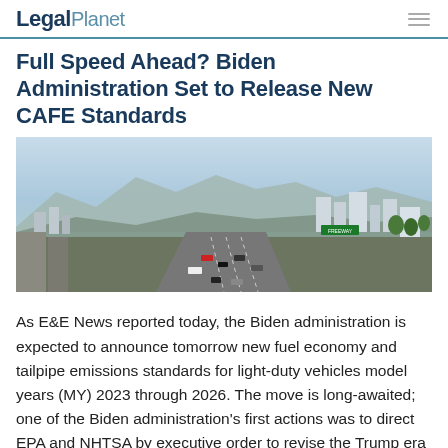LegalPlanet
Full Speed Ahead? Biden Administration Set to Release New CAFE Standards
[Figure (photo): Aerial view of a busy multi-lane freeway in a Southern California city with mountains and urban skyline in the background, under a hazy blue sky.]
As E&E News reported today, the Biden administration is expected to announce tomorrow new fuel economy and tailpipe emissions standards for light-duty vehicles model years (MY) 2023 through 2026. The move is long-awaited; one of the Biden administration's first actions was to direct EPA and NHTSA by executive order to revise the Trump era version …